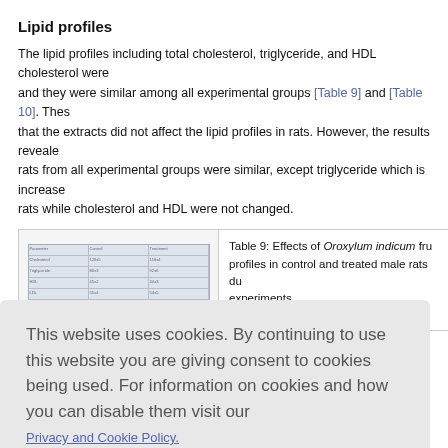Lipid profiles
The lipid profiles including total cholesterol, triglyceride, and HDL cholesterol were and they were similar among all experimental groups [Table 9] and [Table 10]. These that the extracts did not affect the lipid profiles in rats. However, the results revealed rats from all experimental groups were similar, except triglyceride which is increased rats while cholesterol and HDL were not changed.
[Figure (table-as-image): Small thumbnail image of Table 9 showing lipid profile data]
Table 9: Effects of Oroxylum indicum fru profiles in control and treated male rats du experiments
indicum fru nale rats du
This website uses cookies. By continuing to use this website you are giving consent to cookies being used. For information on cookies and how you can disable them visit our
Privacy and Cookie Policy.
AGREE & PROCEED
nsferase (A aminotransferase, and ALP and the kidney function parameters including BUN a